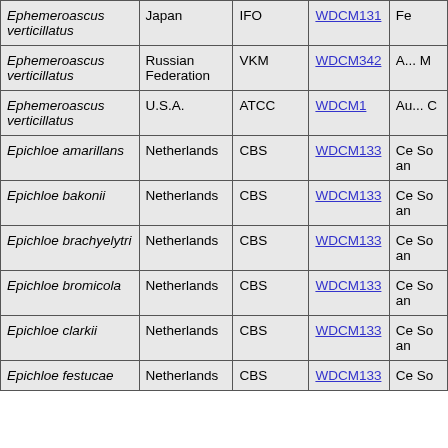| Species | Country | Collection | WDCM | Info |
| --- | --- | --- | --- | --- |
| Ephemeroascus verticillatus | Japan | IFO | WDCM131 | Fe |
| Ephemeroascus verticillatus | Russian Federation | VKM | WDCM342 | A... M |
| Ephemeroascus verticillatus | U.S.A. | ATCC | WDCM1 | Au... C |
| Epichloe amarillans | Netherlands | CBS | WDCM133 | Ce So an |
| Epichloe bakonii | Netherlands | CBS | WDCM133 | Ce So an |
| Epichloe brachyelytri | Netherlands | CBS | WDCM133 | Ce So an |
| Epichloe bromicola | Netherlands | CBS | WDCM133 | Ce So an |
| Epichloe clarkii | Netherlands | CBS | WDCM133 | Ce So an |
| Epichloe festucae | Netherlands | CBS | WDCM133 | Ce So |